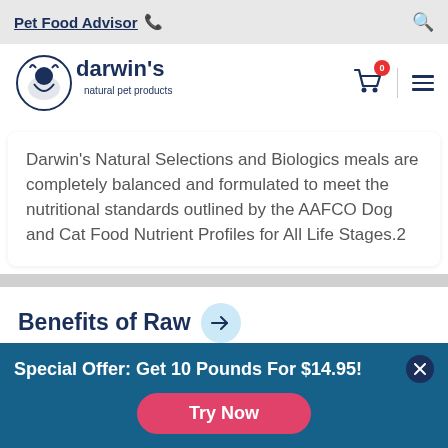Pet Food Advisor
[Figure (logo): Darwin's Natural Pet Products logo — a dog/cat illustration with the brand name 'darwin's natural pet products' in dark navy]
Darwin's Natural Selections and Biologics meals are completely balanced and formulated to meet the nutritional standards outlined by the AAFCO Dog and Cat Food Nutrient Profiles for All Life Stages.2
Benefits of Raw →
Special Offer: Get 10 Pounds For $14.95!
Try Now